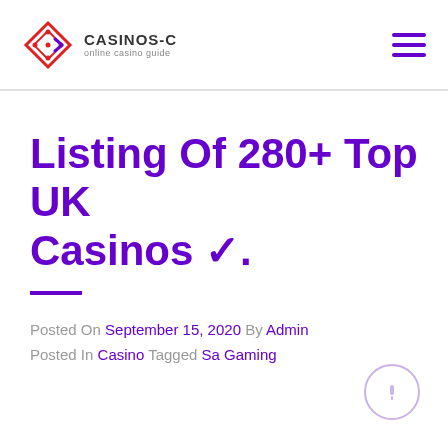CASINOS-C online casino guide
Listing Of 280+ Top UK Casinos ✓.
Posted On September 15, 2020 By Admin Posted In Casino Tagged Sa Gaming